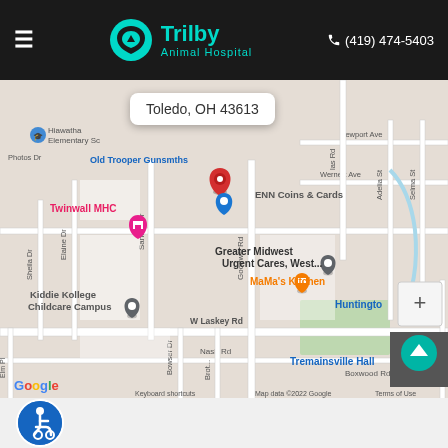Trilby Animal Hospital — (419) 474-5403
[Figure (map): Google Maps screenshot showing Toledo, OH 43613 area with pins for Trilby Animal Hospital location, ENN Coins & Cards, Twinwall MHC, Greater Midwest Urgent Cares West, MaMa's Kitchen, Kiddie Kollege Childcare Campus, Huntington, and Tremainsville Hall. Streets visible include W Laskey Rd, Lima Ave, Wernert Ave, Newport Ave, Goodwill Rd, Nash Rd, Sandra Dr, Bowser Dr. Map data ©2022 Google.]
Toledo, OH 43613
Accessibility icon